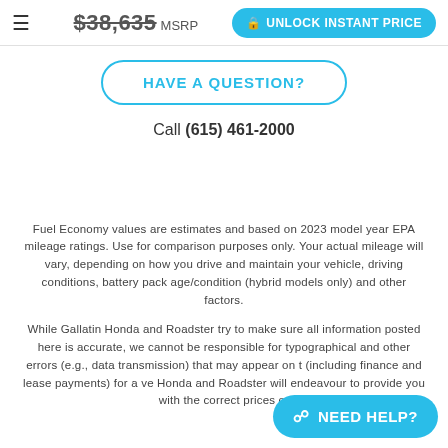≡  $38,635 MSRP  UNLOCK INSTANT PRICE
HAVE A QUESTION?
Call (615) 461-2000
Fuel Economy values are estimates and based on 2023 model year EPA mileage ratings. Use for comparison purposes only. Your actual mileage will vary, depending on how you drive and maintain your vehicle, driving conditions, battery pack age/condition (hybrid models only) and other factors.
While Gallatin Honda and Roadster try to make sure all information posted here is accurate, we cannot be responsible for typographical and other errors (e.g., data transmission) that may appear on t (including finance and lease payments) for a ve Honda and Roadster will endeavour to provide you with the correct prices or